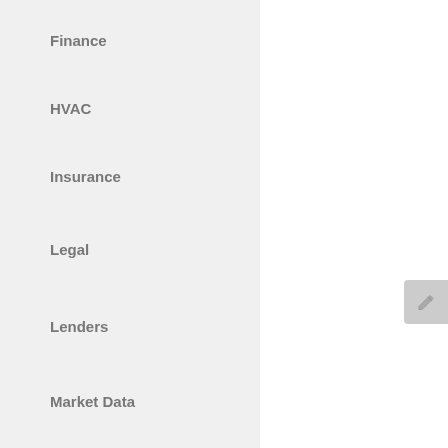Finance
HVAC
Insurance
Legal
Lenders
Market Data